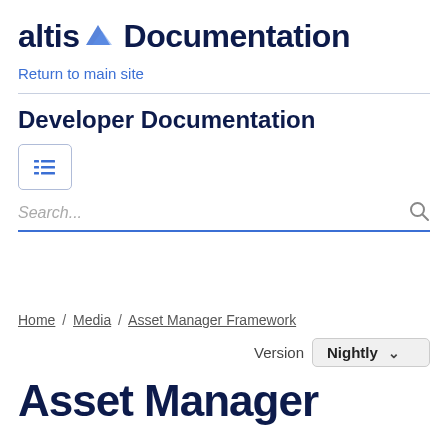altis Documentation
Return to main site
Developer Documentation
[Figure (other): Table of contents / menu icon button]
Search...
Home / Media / Asset Manager Framework
Version Nightly
Asset Manager